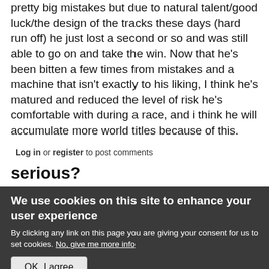pretty big mistakes but due to natural talent/good luck/the design of the tracks these days (hard run off) he just lost a second or so and was still able to go on and take the win. Now that he's been bitten a few times from mistakes and a machine that isn't exactly to his liking, I think he's matured and reduced the level of risk he's comfortable with during a race, and i think he will accumulate more world titles because of this.
Log in or register to post comments
serious?
We use cookies on this site to enhance your user experience
By clicking any link on this page you are giving your consent for us to set cookies. No, give me more info
OK, I agree